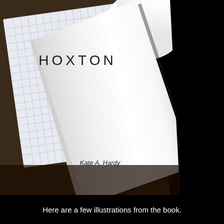[Figure (photo): A photograph of a white book titled 'HOXTON' by Kate A. Hardy, resting on a desk with graph paper notebook and a bright light source in the background. The right side of the image is dark/black.]
Here are a few illustrations from the book.